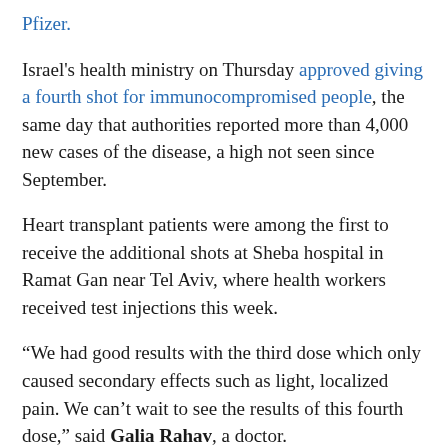Pfizer.
Israel's health ministry on Thursday approved giving a fourth shot for immunocompromised people, the same day that authorities reported more than 4,000 new cases of the disease, a high not seen since September.
Heart transplant patients were among the first to receive the additional shots at Sheba hospital in Ramat Gan near Tel Aviv, where health workers received test injections this week.
“We had good results with the third dose which only caused secondary effects such as light, localized pain. We can’t wait to see the results of this fourth dose,” said Galia Rahav, a doctor.
Cardiologist Yael Peled said it would “increase protection against coronavirus”.